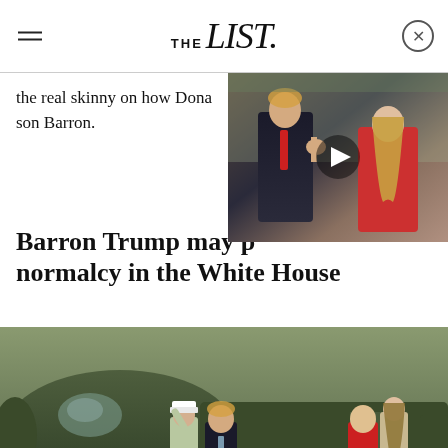THE List
the real skinny on how Dona... son Barron.
[Figure (photo): Photo of Donald Trump and Melania Trump, Trump waving, Melania smiling, with a video play button overlay. Small thumbnail style.]
Barron Trump may p... normalcy in the White House
[Figure (photo): Photo of Trump family arriving by helicopter (Marine One). A Marine salutes Trump, Barron Trump in red jacket descends stairs, Melania visible. Al Drago/Getty Images credit.]
Al Drago/Getty Images